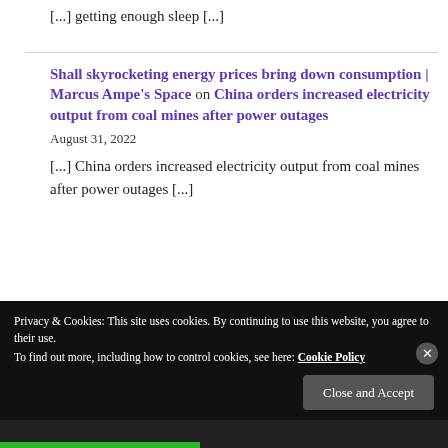[...] getting enough sleep [...]
Shall skyrocketing energy prices bring down consumption | Marcus Ampe's Space on China orders increased electricity output from coal mines after power outages
August 31, 2022
[...] China orders increased electricity output from coal mines after power outages [...]
Privacy & Cookies: This site uses cookies. By continuing to use this website, you agree to their use.
To find out more, including how to control cookies, see here: Cookie Policy
Close and Accept